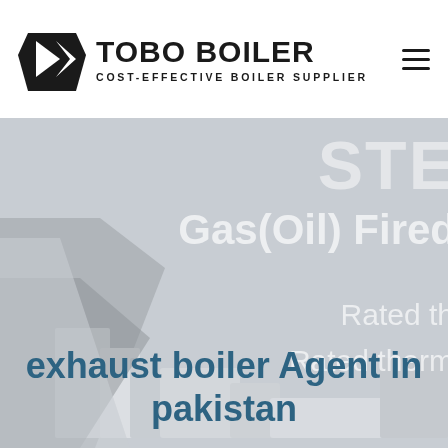TOBO BOILER — COST-EFFECTIVE BOILER SUPPLIER
[Figure (screenshot): Hero banner with boiler product imagery and partially cropped text reading 'Gas(Oil) Fired', 'Rated th...', 'Rated therm...' on a grey background with industrial boiler equipment visible]
exhaust boiler Agent in pakistan